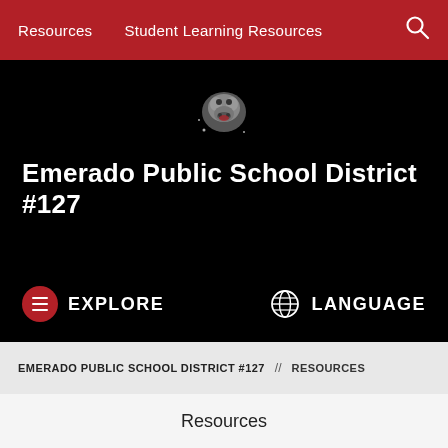Resources   Student Learning Resources
[Figure (logo): School mascot logo — bulldog illustration on black background]
Emerado Public School District #127
EXPLORE
LANGUAGE
EMERADO PUBLIC SCHOOL DISTRICT #127  //  RESOURCES
Resources